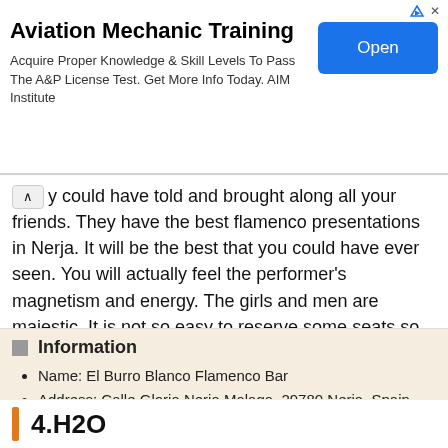[Figure (other): Advertisement banner for Aviation Mechanic Training by AIM Institute with an Open button]
y could have told and brought along all your friends. They have the best flamenco presentations in Nerja. It will be the best that you could have ever seen. You will actually feel the performer's magnetism and energy. The girls and men are majestic. It is not so easy to reserve some seats so plan wisely. They open at 9:00pm in the evening. They are located at Calle Gloria Nerja Malaga, 29780 Nerja.
Information
Name: El Burro Blanco Flamenco Bar
Address: Calle Gloria Nerja Malaga, 29780 Nerja, Spain
Phone: +34 952 52 42 00
Hours: 6pm – 2am
4.H2O